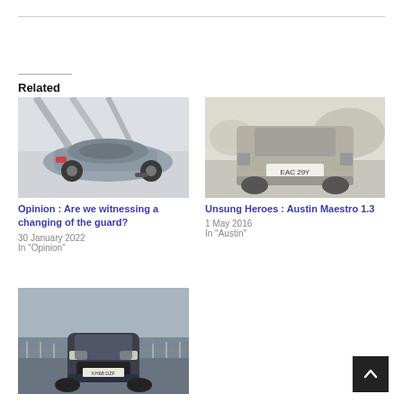Related
[Figure (photo): Silver sports car (Ford Mustang style) viewed from rear-side angle under a modern structure]
Opinion : Are we witnessing a changing of the guard?
30 January 2022
In "Opinion"
[Figure (photo): Black and white photo of a car (Austin Maestro) viewed from the rear with license plate EAC 29Y]
Unsung Heroes : Austin Maestro 1.3
1 May 2016
In "Austin"
[Figure (photo): Dark coloured Ford Mondeo style car driving towards camera on a road/bridge]